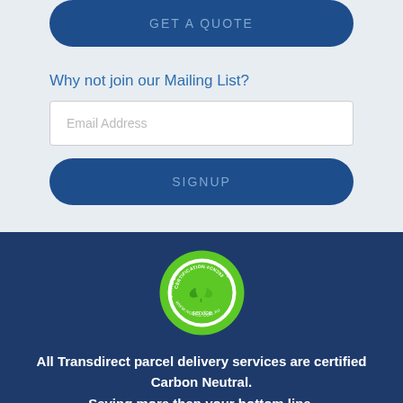[Figure (other): GET A QUOTE button — dark navy rounded rectangle button with light blue text]
Why not join our Mailing List?
[Figure (other): Email Address input field — white rectangular input with placeholder text]
[Figure (other): SIGNUP button — dark navy rounded rectangle button with light blue text]
[Figure (logo): Carbon Neutral certification badge — circular green badge with leaf icon, text: CERTIFICATION #CN393, CARBON NEUTRAL, service, WWW.NOCO2.COM.AU]
All Transdirect parcel delivery services are certified Carbon Neutral.
Saving more than your bottom line.